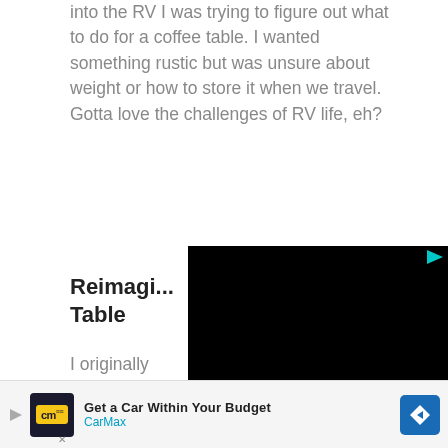into the RV I was trying to figure out what to do for a coffee table. I wanted something rustic but was unsure about weight or how to store it when we travel. Gotta love the challenges of RV life, eh?
Reimagi... Table
[Figure (screenshot): Black video player rectangle with a play button icon in the top right corner]
I originally ... Southwes...
[Figure (infographic): CarMax advertisement banner: play icon, CarMax logo in dark box with yellow cm, text 'Get a Car Within Your Budget' and 'CarMax' in blue, blue diamond/square icon with arrow on right]